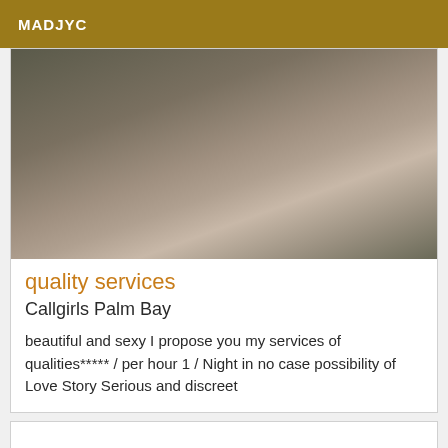MADJYC
[Figure (photo): Close-up photo of two people lying together, one wearing a light blue top and the other a beige/pink fabric, photographed from above]
quality services
Callgirls Palm Bay
beautiful and sexy I propose you my services of qualities***** / per hour 1 / Night in no case possibility of Love Story Serious and discreet